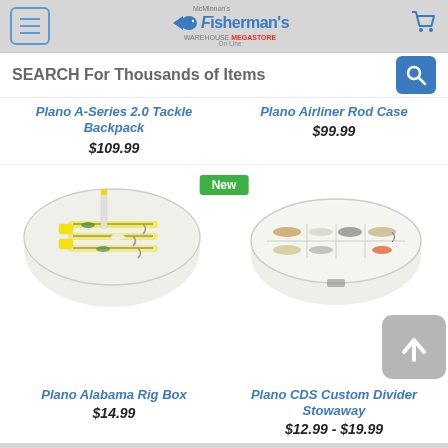Fisherman's Warehouse Megastore Online - SEARCH For Thousands of Items
Plano A-Series 2.0 Tackle Backpack
$109.99
Plano Airliner Rod Case
$99.99
[Figure (photo): Plano Alabama Rig Box - open plastic tackle box with fishing rigs with yellow and green/white coloring]
[Figure (photo): Plano CDS Custom Divider Stowaway - open flat plastic tackle organizer box with fishing lures and gear]
Plano Alabama Rig Box
$14.99
Plano CDS Custom Divider Stowaway
$12.99 - $19.99